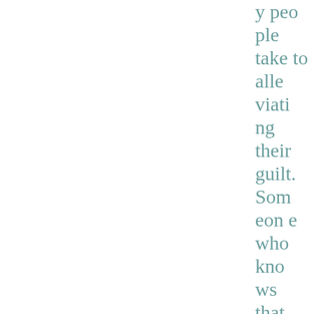y people take to alleviating their guilt. Someone who knows that